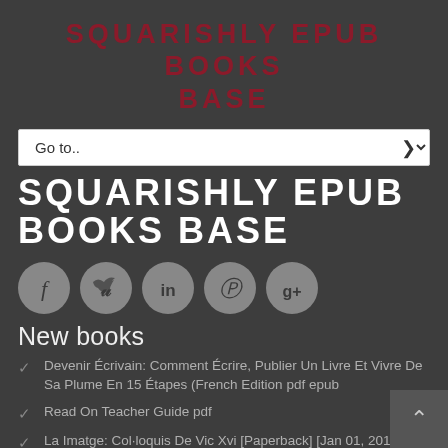SQUARISHLY EPUB BOOKS BASE
Go to..
SQUARISHLY EPUB BOOKS BASE
[Figure (infographic): Social media icon buttons: Facebook (f), Twitter (bird), LinkedIn (in), Pinterest (p), Google+ (g+)]
New books
Devenir Écrivain: Comment Écrire, Publier Un Livre Et Vivre De Sa Plume En 15 Étapes (French Edition pdf epub
Read On Teacher Guide pdf
La Imatge: Col·loquis De Vic Xvi [Paperback] [Jan 01, 2012]